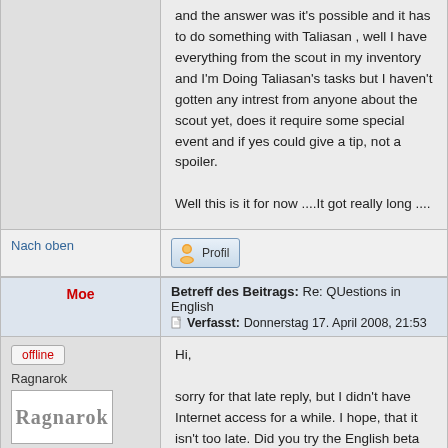and the answer was it's possible and it has to do something with Taliasan , well I have everything from the scout in my inventory and I'm Doing Taliasan's tasks but I haven't gotten any intrest from anyone about the scout yet, does it require some special event and if yes could give a tip, not a spoiler.

Well this is it for now ....It got really long ....
Nach oben
Profil
Moe
Betreff des Beitrags: Re: QUestions in English
Verfasst: Donnerstag 17. April 2008, 21:53
offline
Ragnarok
Registriert: Sonntag 25. Mai 2003, 21:40
Beiträge: 1487
Hi,

sorry for that late reply, but I didn't have Internet access for a while. I hope, that it isn't too late. Did you try the English beta patch? There are also some other languages avaiable,